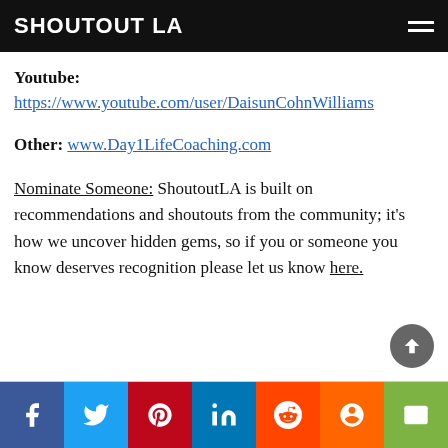SHOUTOUT LA
Youtube: https://www.youtube.com/user/DaisunCohnWilliams
Other: www.Day1LifeCoaching.com
Nominate Someone: ShoutoutLA is built on recommendations and shoutouts from the community; it's how we uncover hidden gems, so if you or someone you know deserves recognition please let us know here.
Social share buttons: Facebook, Twitter, Pinterest, LinkedIn, Reddit, Mix, Email